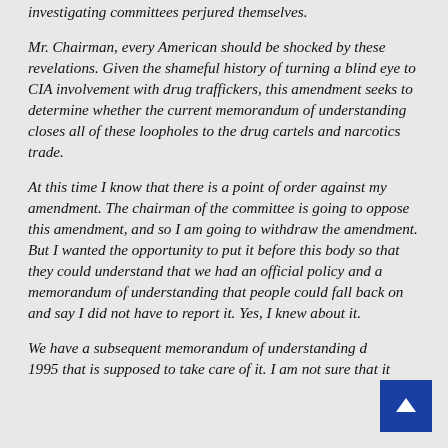investigating committees perjured themselves.
Mr. Chairman, every American should be shocked by these revelations. Given the shameful history of turning a blind eye to CIA involvement with drug traffickers, this amendment seeks to determine whether the current memorandum of understanding closes all of these loopholes to the drug cartels and narcotics trade.
At this time I know that there is a point of order against my amendment. The chairman of the committee is going to oppose this amendment, and so I am going to withdraw the amendment. But I wanted the opportunity to put it before this body so that they could understand that we had an official policy and a memorandum of understanding that people could fall back on and say I did not have to report it. Yes, I knew about it.
We have a subsequent memorandum of understanding dated 1995 that is supposed to take care of it. I am not sure that it